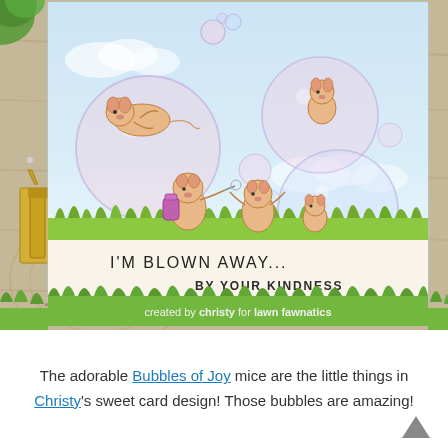[Figure (photo): A handmade greeting card featuring cute mice characters playing with colorful bubbles, with the sentiment 'I'M BLOWN AWAY... BY YOUR KINDNESS', displayed on a wooden surface with green grass border. Banner reads 'created by christy for lawn fawnatics'.]
The adorable Bubbles of Joy mice are the little things in Christy's sweet card design! Those bubbles are amazing!